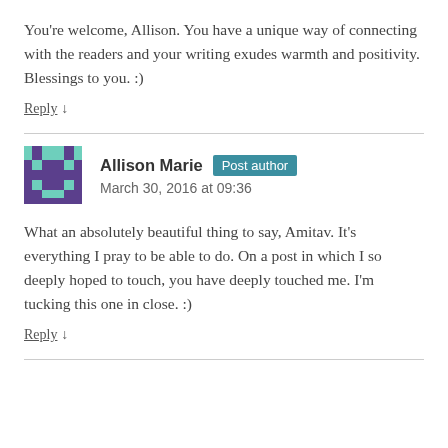You're welcome, Allison. You have a unique way of connecting with the readers and your writing exudes warmth and positivity. Blessings to you. :)
Reply ↓
Allison Marie Post author
March 30, 2016 at 09:36
What an absolutely beautiful thing to say, Amitav. It's everything I pray to be able to do. On a post in which I so deeply hoped to touch, you have deeply touched me. I'm tucking this one in close. :)
Reply ↓